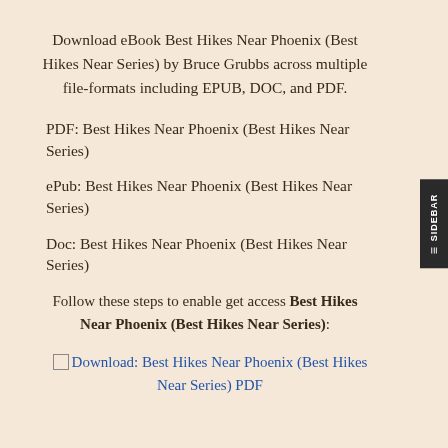Download eBook Best Hikes Near Phoenix (Best Hikes Near Series) by Bruce Grubbs across multiple file-formats including EPUB, DOC, and PDF.
PDF: Best Hikes Near Phoenix (Best Hikes Near Series)
ePub: Best Hikes Near Phoenix (Best Hikes Near Series)
Doc: Best Hikes Near Phoenix (Best Hikes Near Series)
Follow these steps to enable get access Best Hikes Near Phoenix (Best Hikes Near Series):
[image] Download: Best Hikes Near Phoenix (Best Hikes Near Series) PDF